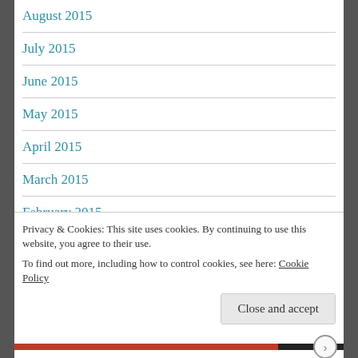August 2015
July 2015
June 2015
May 2015
April 2015
March 2015
February 2015
J…
Privacy & Cookies: This site uses cookies. By continuing to use this website, you agree to their use. To find out more, including how to control cookies, see here: Cookie Policy
Close and accept